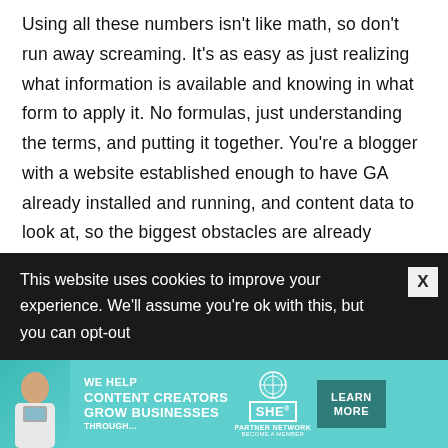Using all these numbers isn't like math, so don't run away screaming. It's as easy as just realizing what information is available and knowing in what form to apply it. No formulas, just understanding the terms, and putting it together. You're a blogger with a website established enough to have GA already installed and running, and content data to look at, so the biggest obstacles are already behind you. You've got this!
This website uses cookies to improve your experience. We'll assume you're ok with this, but you can opt-out
[Figure (infographic): SHE Media Partner Network advertisement banner with teal background, person image on left, text 'WE HELP CONTENT CREATORS GROW BUSINESSES THROUGH...' and SHE logo, with 'LEARN MORE' button and 'BECOME A MEMBER' call to action.]